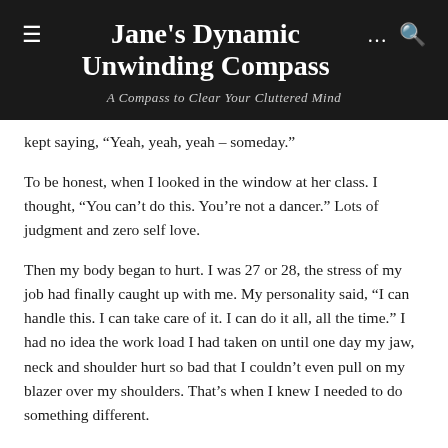Jane's Dynamic Unwinding Compass
A Compass to Clear Your Cluttered Mind
kept saying, “Yeah, yeah, yeah – someday.”
To be honest, when I looked in the window at her class. I thought, “You can’t do this. You’re not a dancer.” Lots of judgment and zero self love.
Then my body began to hurt. I was 27 or 28, the stress of my job had finally caught up with me. My personality said, “I can handle this. I can take care of it. I can do it all, all the time.” I had no idea the work load I had taken on until one day my jaw, neck and shoulder hurt so bad that I couldn’t even pull on my blazer over my shoulders. That’s when I knew I needed to do something different.